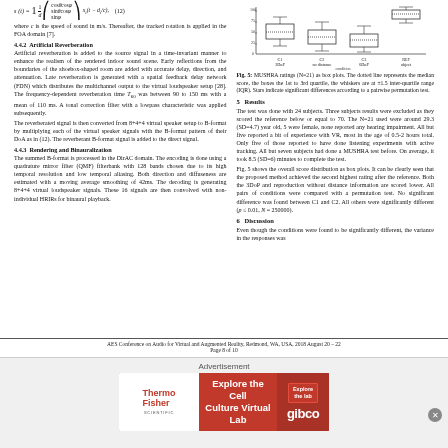where c is the speed of sound in m/s. Thereafter, the tracked rotation is applied in the FOA domain [7].
4.4.2 Artificial Reverberation
Artificial reverberation is added to the source signal in a time-invariant manner to enhance the realism of the rendered indoor sound scene. Early reflections from the boundaries of the shoebox-shaped room are added with accurate delay, direction, and attenuation. Late reverberation is generated with a spatial feedback delay network (FDN) which distributes the multichannel output to the virtual loudspeaker setup [28]. The frequency-dependent reverberation time T60 was between 90 to 150 ms with a mean of 110 ms. A tonal correction filter with a lowpass characteristic was applied subsequently.
The reverberated signal is then converted from 8+4+4 virtual speaker setup to B-format by multiplying each of the virtual speaker signals with the B-format pattern of their DoA as in (12). The reverberant B-format signal is added to the direct signal.
4.4.3 Rendering and Binauralization
The summed B-format is processed in the DirAC domain. The encoding is done using a quadrature mirror filter (QMF) filterbank with 128 bands chosen due to its high temporal resolution and low temporal aliasing. Both direction and diffuseness are estimated with a moving average smoothing of 42ms. The decoding is generating 8+4+4 virtual loudspeaker signals. These 16 signals are then convolved with non-individual HRIRs for binaural playback.
[Figure (table-as-image): Table showing C1 3DoP, C2 no distance, C3 6DoP, REF object conditions]
Fig. 5: MUSHRA ratings (N=21) as box plots. The dotted line represents the median score, the boxes the 1st to 3rd quartile, the whiskers are at ±1.5 inter-quartile range (IQR). Stars indicate significant differences according to a pairwise permutation test.
5 Results
The test was done with 24 subjects. Three subjects results were excluded as they scored the reference below or equal to 70. The N=21 used were around 29.3 (SD=4.7) year old, 5 were female, none reported any hearing impairment. All but five reported a bit of experience with VR, most in the age of 0.5-2 hours total. Only five of those reported to have done listening experiments with active tracking. All but seven subjects had done a MUSHRA test before. On average, it took 8.5 (SD=6) minutes to complete the test.
Fig. 5 shows the overall score distribution as box plots. It can be clearly seen that the proposed method achieved the second highest rating after the reference. Both the 3DoP and reproduction without distance information are scored lower. All pairs of conditions were compared with a permutation test. No significant difference was found between C1 and C2. All others were significantly different (p ≤ 0.01, N = 250000).
6 Discussion
Even though the conditions were found to be significantly different, the variance in the responses was
AES Conference on Audio for Virtual and Augmented Reality, Redmond, WA, USA, 2018 August 20 – 22
Page 8 of 10